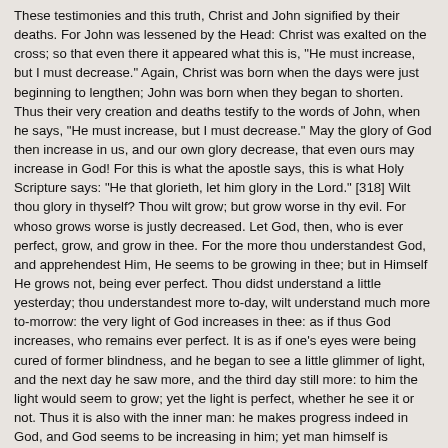These testimonies and this truth, Christ and John signified by their deaths. For John was lessened by the Head: Christ was exalted on the cross; so that even there it appeared what this is, "He must increase, but I must decrease." Again, Christ was born when the days were just beginning to lengthen; John was born when they began to shorten. Thus their very creation and deaths testify to the words of John, when he says, "He must increase, but I must decrease." May the glory of God then increase in us, and our own glory decrease, that even ours may increase in God! For this is what the apostle says, this is what Holy Scripture says: "He that glorieth, let him glory in the Lord." [318] Wilt thou glory in thyself? Thou wilt grow; but grow worse in thy evil. For whoso grows worse is justly decreased. Let God, then, who is ever perfect, grow, and grow in thee. For the more thou understandest God, and apprehendest Him, He seems to be growing in thee; but in Himself He grows not, being ever perfect. Thou didst understand a little yesterday; thou understandest more to-day, wilt understand much more to-morrow: the very light of God increases in thee: as if thus God increases, who remains ever perfect. It is as if one's eyes were being cured of former blindness, and he began to see a little glimmer of light, and the next day he saw more, and the third day still more: to him the light would seem to grow; yet the light is perfect, whether he see it or not. Thus it is also with the inner man: he makes progress indeed in God, and God seems to be increasing in him; yet man himself is decreasing, that he may fall from his own glory, and rise into the glory of God.
6. What we have just heard, appears now distinctly and clearly. "He that cometh from above, is above all." See what he says of Christ. What of himself? "He that is of the earth, is of earth, and speaketh of